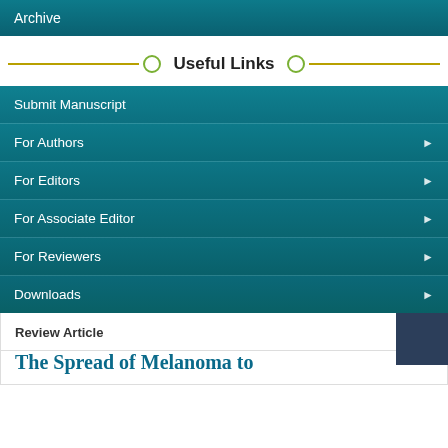Archive
Useful Links
Submit Manuscript
For Authors
For Editors
For Associate Editor
For Reviewers
Downloads
Review Article
The Spread of Melanoma to